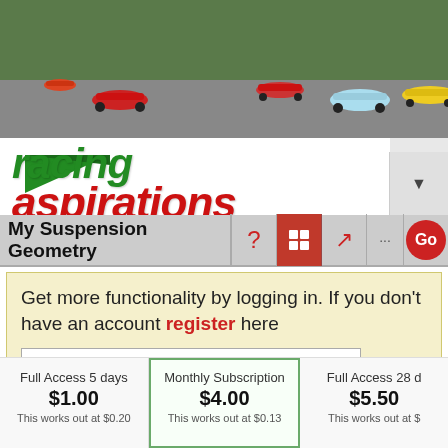[Figure (screenshot): Racing cars on a track with Racing Aspirations logo overlaid on top of a motorsport photo]
racing aspirations
My Suspension Geometry
Get more functionality by logging in. If you don't have an account register here
Username or Email
Password
LOGIN
Full Access 5 days
$1.00
This works out at $0.20
Monthly Subscription
$4.00
This works out at $0.13
Full Access 28 d
$5.50
This works out at $